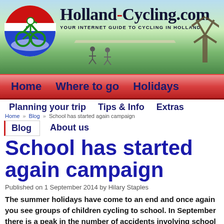[Figure (screenshot): Holland-Cycling.com website header banner with logo (cyclist in red/white/blue circle) and Dutch countryside photo with windmill and cyclists on a rural road]
Holland-Cycling.com
YOUR INTERNET GUIDE TO CYCLING IN HOLLAND
Home   Where to go   Holidays
Planning your trip   Tips & Info   Extras
Home » Blog » School has started again campaign
Blog   About us
School has started again campaign
Published on 1 September 2014 by Hilary Staples
The summer holidays have come to an end and once again you see groups of children cycling to school. In September there is a peak in the number of accidents involving school children. That's why Dutch road safety organisation Veilig Verkeer Nederland (VVN)